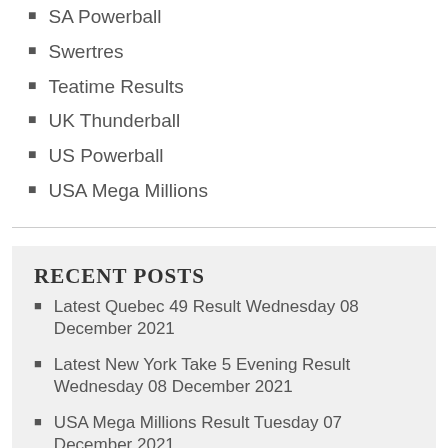SA Powerball
Swertres
Teatime Results
UK Thunderball
US Powerball
USA Mega Millions
RECENT POSTS
Latest Quebec 49 Result Wednesday 08 December 2021
Latest New York Take 5 Evening Result Wednesday 08 December 2021
USA Mega Millions Result Tuesday 07 December 2021
Latest New York Take 5 Evening